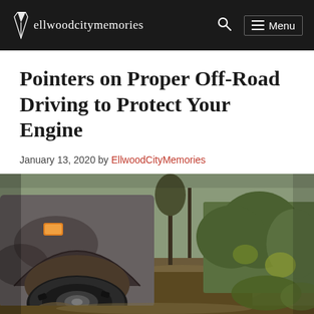ellwoodcitymemories  🔍  ☰ Menu
Pointers on Proper Off-Road Driving to Protect Your Engine
January 13, 2020 by EllwoodCityMemories
[Figure (photo): Close-up photo of a muddy off-road truck on a dirt trail surrounded by green vegetation. The vehicle is heavily covered in mud with a large off-road tire visible in the foreground.]